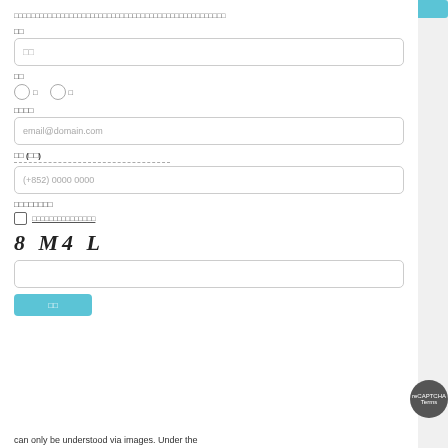□□□□□□□□□□□□□□□□□□□□□□□□□□□□□□□□□□□□□□□□□□□□□□□
□□
□□
□□
○ □  ○ □
□□□□
email@domain.com
□□ (□□)
(+852) 0000 0000
□□□□□□□□
□□□□□□□□□□□□□□□
[Figure (other): CAPTCHA image showing text: 8 M4 L]
□□
can only be understood via images. Under the